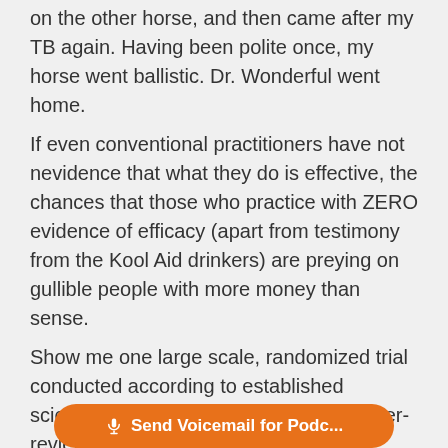on the other horse, and then came after my TB again. Having been polite once, my horse went ballistic. Dr. Wonderful went home.
If even conventional practitioners have not nevidence that what they do is effective, the chances that those who practice with ZERO evidence of efficacy (apart from testimony from the Kool Aid drinkers) are preying on gullible people with more money than sense.
Show me one large scale, randomized trial conducted according to established scientific methods and published in a peer-reviewed
[Figure (screenshot): Orange rounded button overlay reading 'Send Voicemail for Podc...' with a microphone icon]